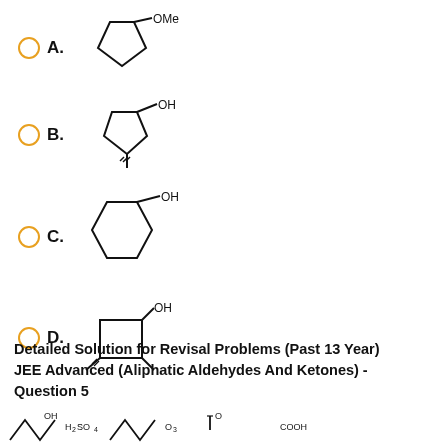A. cyclopentane with OMe substituent (cyclopentyl methyl ether)
B. 1-methylcyclopentan-1-ol
C. cyclohexan-1-ol
D. 1-methylcyclobutan-1-ol (with two methyl groups shown)
Detailed Solution for Revisal Problems (Past 13 Year) JEE Advanced (Aliphatic Aldehydes And Ketones) - Question 5
[Figure (illustration): Bottom strip showing partial chemical structures with OH, H2SO4, O3, and COOH labels]